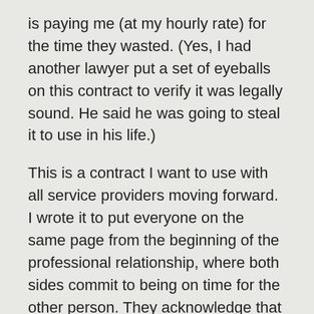is paying me (at my hourly rate) for the time they wasted. (Yes, I had another lawyer put a set of eyeballs on this contract to verify it was legally sound. He said he was going to steal it to use in his life.)
This is a contract I want to use with all service providers moving forward. I wrote it to put everyone on the same page from the beginning of the professional relationship, where both sides commit to being on time for the other person. They acknowledge that I'm an entrepreneur, and as such, when they waste my time, they interfere with my ability to make a living.
This agreement is not as bitchy as it may sound on its face. I have to commit to following their policies for scheduling and rescheduling appointments too, and there are allowance for some delays – hitting every